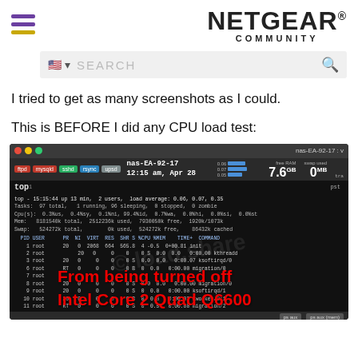[Figure (logo): Netgear Community logo with hamburger menu icon on the left and NETGEAR COMMUNITY text on the right]
[Figure (screenshot): Search bar with US flag icon and search text]
I tried to get as many screenshots as I could.
This is BEFORE I did any CPU load test:
[Figure (screenshot): Mac OS X terminal window showing htop/top output for nas-EA-92-17 system with 7.6 GB free RAM, 0 MB swap used. Terminal shows top command output with CPU and memory stats. Red overlay text reads 'From being turned off' and 'Intel Core 2 Quad Q6600']